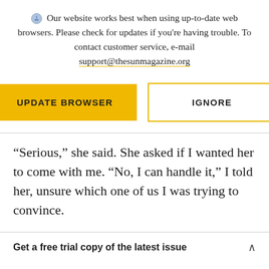Our website works best when using up-to-date web browsers. Please check for updates if you're having trouble. To contact customer service, e-mail support@thesunmagazine.org
[Figure (other): Two buttons: a yellow filled button labeled UPDATE BROWSER and a yellow-outlined button labeled IGNORE]
“Serious,” she said. She asked if I wanted her to come with me. “No, I can handle it,” I told her, unsure which one of us I was trying to convince.
Get a free trial copy of the latest issue